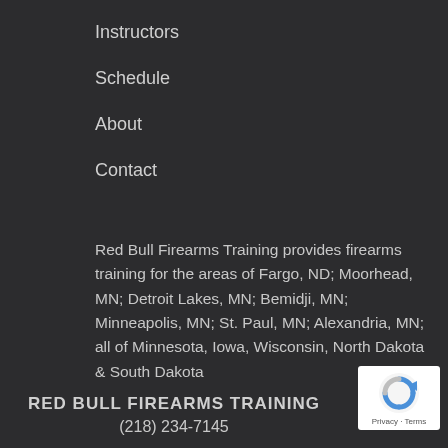Instructors
Schedule
About
Contact
Red Bull Firearms Training provides firearms training for the areas of Fargo, ND; Moorhead, MN; Detroit Lakes, MN; Bemidji, MN; Minneapolis, MN; St. Paul, MN; Alexandria, MN; all of Minnesota, Iowa, Wisconsin, North Dakota & South Dakota
RED BULL FIREARMS TRAINING
(218) 234-7145
[Figure (logo): reCAPTCHA badge with Privacy and Terms text]